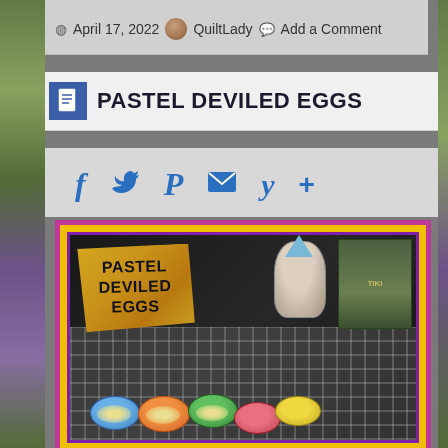April 17, 2022  QuiltLady  Add a Comment
PASTEL DEVILED EGGS
[Figure (illustration): Social sharing icons: Facebook (f), Twitter (bird), Pinterest (P), Email (envelope), Yummly (Y), and plus (+) in blue color]
[Figure (photo): Photo of pastel-colored deviled eggs on a checkered tablecloth with a gnome figurine and book in the background. Text overlay reads PASTEL DEVILED EGGS on a golden brushstroke background. Photo has a purple and pink border frame.]